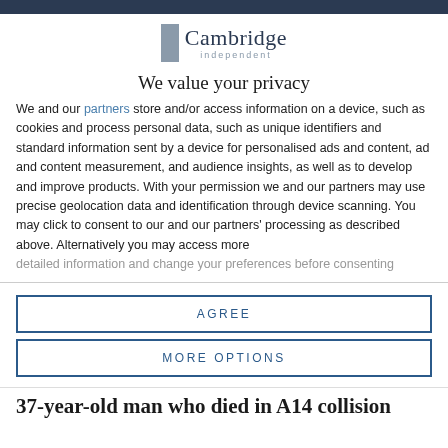Cambridge Independent
We value your privacy
We and our partners store and/or access information on a device, such as cookies and process personal data, such as unique identifiers and standard information sent by a device for personalised ads and content, ad and content measurement, and audience insights, as well as to develop and improve products. With your permission we and our partners may use precise geolocation data and identification through device scanning. You may click to consent to our and our partners' processing as described above. Alternatively you may access more detailed information and change your preferences before consenting
AGREE
MORE OPTIONS
37-year-old man who died in A14 collision